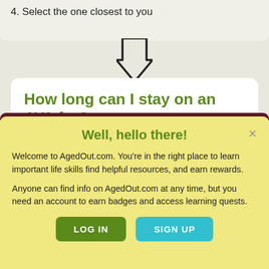4. Select the one closest to you
[Figure (illustration): Downward pointing arrow (outline style) indicating flow to next section]
How long can I stay on an AYA for?
NEW! You can now stay on it for 48 months!
Well, hello there!
Welcome to AgedOut.com. You're in the right place to learn important life skills find helpful resources, and earn rewards.
Anyone can find info on AgedOut.com at any time, but you need an account to earn badges and access learning quests.